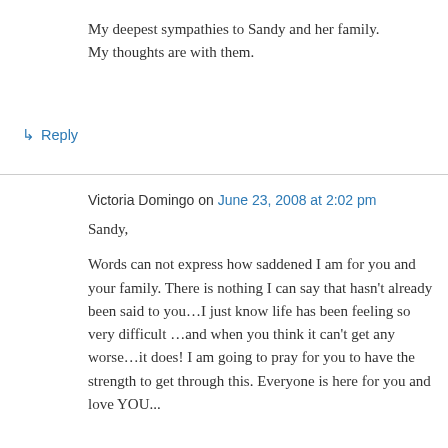My deepest sympathies to Sandy and her family. My thoughts are with them.
↳ Reply
Victoria Domingo on June 23, 2008 at 2:02 pm
Sandy,
Words can not express how saddened I am for you and your family. There is nothing I can say that hasn't already been said to you…I just know life has been feeling so very difficult …and when you think it can't get any worse…it does! I am going to pray for you to have the strength to get through this. Everyone is here for you and love YOU...